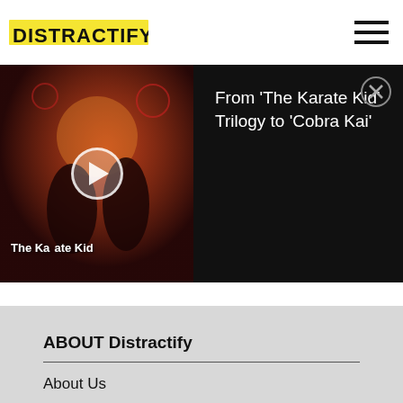Distractify
[Figure (screenshot): Video player banner showing The Karate Kid movie poster with play button overlay on left, and text 'From The Karate Kid Trilogy to Cobra Kai' on dark right panel with close button]
ABOUT Distractify
About Us
Privacy Policy
Terms of Use
DMCA
Sitemap